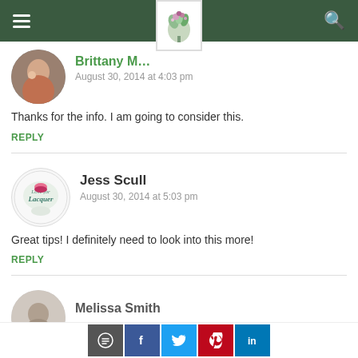Site header with navigation hamburger menu, logo, and search icon
Brittany [name partially hidden]
August 30, 2014 at 4:03 pm
Thanks for the info. I am going to consider this.
REPLY
Jess Scull
August 30, 2014 at 5:03 pm
Great tips! I definitely need to look into this more!
REPLY
Melissa Smith
Social share buttons: comment, facebook, twitter, pinterest, linkedin